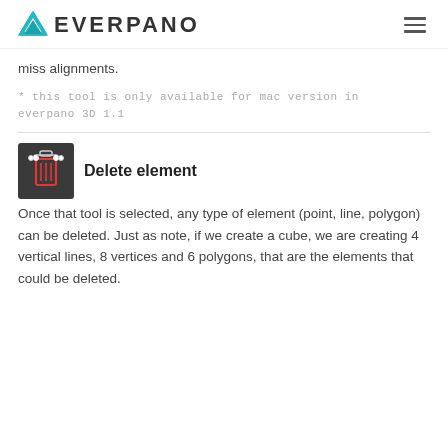EVERPANO
miss alignments.
* this tool is only available for mac version in everpano 3D 1.1
Delete element
[Figure (illustration): Dark square icon with a trash/delete element icon in red and white on dark grey background]
Once that tool is selected, any type of element (point, line, polygon) can be deleted. Just as note, if we create a cube, we are creating 4 vertical lines, 8 vertices and 6 polygons, that are the elements that could be deleted.